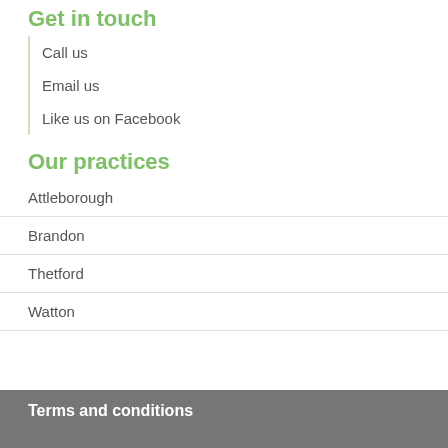Get in touch
Call us
Email us
Like us on Facebook
Our practices
Attleborough
Brandon
Thetford
Watton
Terms and conditions